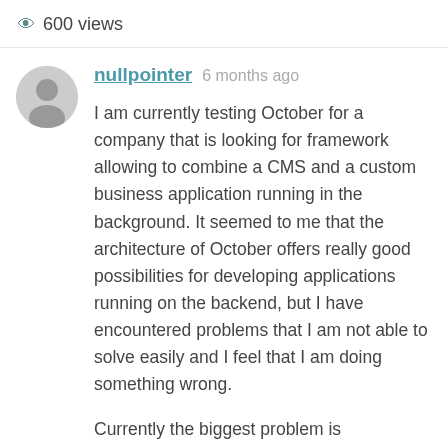600 views
nullpointer  6 months ago
I am currently testing October for a company that is looking for framework allowing to combine a CMS and a custom business application running in the background. It seemed to me that the architecture of October offers really good possibilities for developing applications running on the backend, but I have encountered problems that I am not able to solve easily and I feel that I am doing something wrong.
Currently the biggest problem is programming the application business logic. As an example